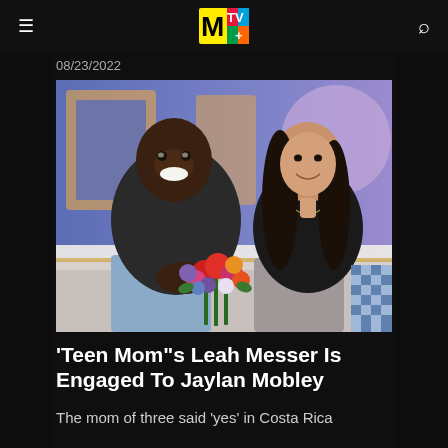MTV
08/23/2022
[Figure (photo): Jaylan Mobley and Leah Messer sitting on a grey couch on a TV set with a colorful purple and blue studio background and a bouquet of colorful flowers between them. Both are smiling.]
'Teen Mom"s Leah Messer Is Engaged To Jaylan Mobley
The mom of three said 'yes' in Costa Rica